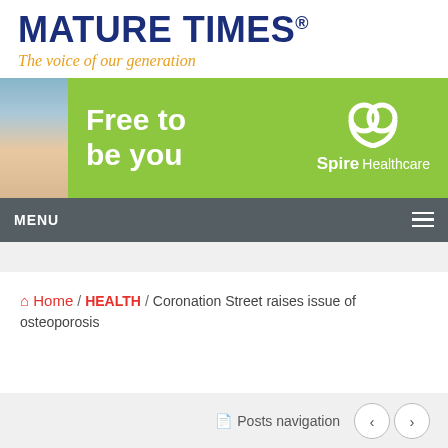MATURE TIMES®
The voice of our generation
[Figure (infographic): Spire Healthcare advertisement banner: green background with text 'Free to be you' and Spire Healthcare logo with heart icon, alongside a photo of smiling older people]
MENU
🏠 Home / HEALTH / Coronation Street raises issue of osteoporosis
Posts navigation